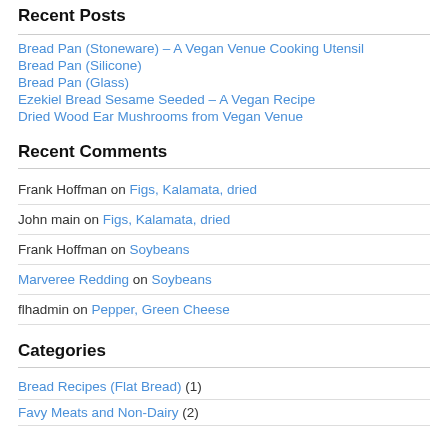Recent Posts
Bread Pan (Stoneware) – A Vegan Venue Cooking Utensil
Bread Pan (Silicone)
Bread Pan (Glass)
Ezekiel Bread Sesame Seeded – A Vegan Recipe
Dried Wood Ear Mushrooms from Vegan Venue
Recent Comments
Frank Hoffman on Figs, Kalamata, dried
John main on Figs, Kalamata, dried
Frank Hoffman on Soybeans
Marveree Redding on Soybeans
flhadmin on Pepper, Green Cheese
Categories
Bread Recipes (Flat Bread) (1)
Favy Meats and Non-Dairy (2)